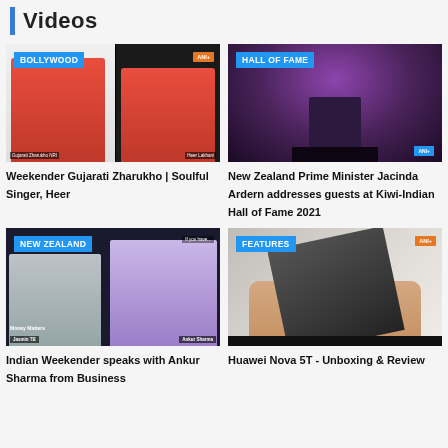Videos
[Figure (screenshot): Video thumbnail: Bollywood category, two women in red outfits]
Weekender Gujarati Zharukho | Soulful Singer, Heer
[Figure (screenshot): Video thumbnail: Hall of Fame category, person on stage at Kiwi-Indian Hall of Fame 2021]
New Zealand Prime Minister Jacinda Ardern addresses guests at Kiwi-Indian Hall of Fame 2021
[Figure (screenshot): Video thumbnail: New Zealand category, two people in video call, Money Matters label]
Indian Weekender speaks with Ankur Sharma from Business
[Figure (screenshot): Video thumbnail: Features category, hands holding a smartphone]
Huawei Nova 5T - Unboxing & Review